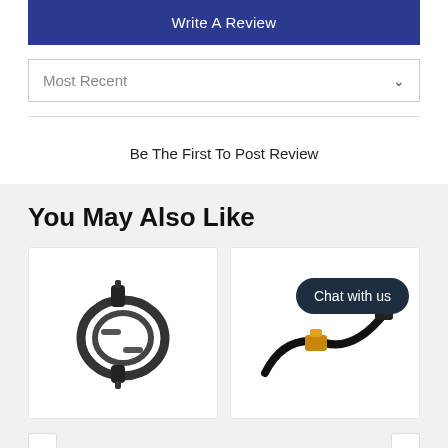Write A Review
Most Recent
Be The First To Post Review
You May Also Like
[Figure (photo): Coiled dark gray cable with connectors, bundled with velcro straps]
[Figure (photo): Black cable with gold/yellow XT connector, with Chat with us bubble overlay]